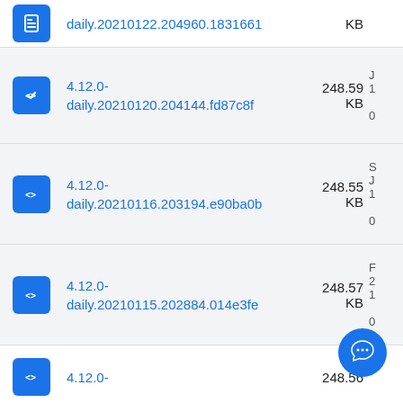daily.20210122.204960.1831661  KB
4.12.0-daily.20210120.204144.fd87c8f  248.59 KB
4.12.0-daily.20210116.203194.e90ba0b  248.55 KB
4.12.0-daily.20210115.202884.014e3fe  248.57 KB
4.12.0-  248.56...